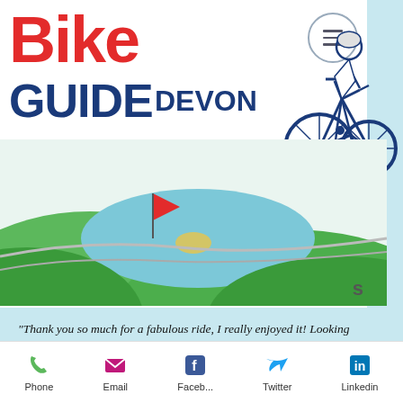[Figure (logo): Bike Guide Devon logo with red 'Bike' text and dark blue 'GUIDE DEVON' text, with a cyclist illustration doing a jump]
[Figure (illustration): Colorful stylized landscape illustration showing green hills, blue water/river, red and yellow elements representing a bike trail map of Devon]
"Thank you so much for a fabulous ride, I really enjoyed it! Looking forward to the next one already." - Ele H
"I didn't realise how much Woodbury had to offer. I Had a great evening and met some
Phone  Email  Faceb...  Twitter  Linkedin